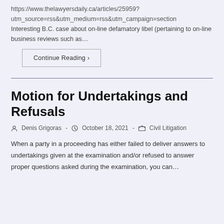https://www.thelawyersdaily.ca/articles/25959?utm_source=rss&utm_medium=rss&utm_campaign=section
Interesting B.C. case about on-line defamatory libel (pertaining to on-line business reviews such as…
Continue Reading ›
Motion for Undertakings and Refusals
Denis Grigoras · October 18, 2021 · Civil Litigation
When a party in a proceeding has either failed to deliver answers to undertakings given at the examination and/or refused to answer proper questions asked during the examination, you can…